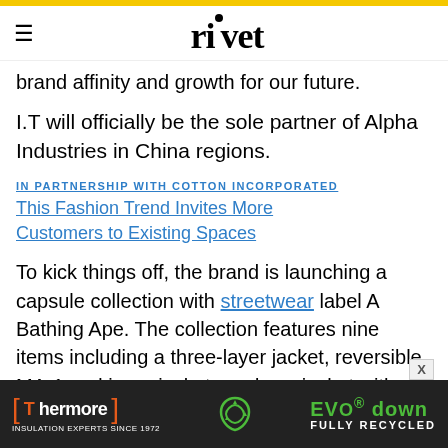rivet
brand affinity and growth for our future.
I.T will officially be the sole partner of Alpha Industries in China regions.
IN PARTNERSHIP WITH COTTON INCORPORATED
This Fashion Trend Invites More Customers to Existing Spaces
To kick things off, the brand is launching a capsule collection with streetwear label A Bathing Ape. The collection features nine items including a three-layer jacket, reversible MA-1 and inner jackets, a down jacket with durable Cordura fabric on the elbows, a
[Figure (other): Advertisement banner for Thermore EVO down insulation. Orange and green text on dark background. Text reads: Thermore INSULATION EXPERTS SINCE 1972 | recycling icon | EVOdown FULLY RECYCLED]